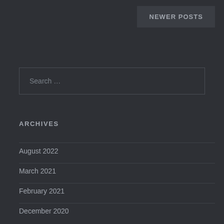NEWER POSTS
Search …
ARCHIVES
August 2022
March 2021
February 2021
December 2020